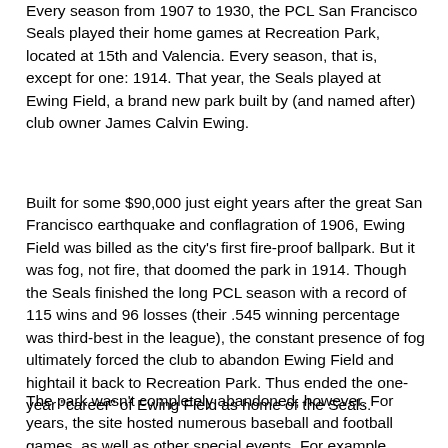Every season from 1907 to 1930, the PCL San Francisco Seals played their home games at Recreation Park, located at 15th and Valencia. Every season, that is, except for one: 1914. That year, the Seals played at Ewing Field, a brand new park built by (and named after) club owner James Calvin Ewing.
Built for some $90,000 just eight years after the great San Francisco earthquake and conflagration of 1906, Ewing Field was billed as the city's first fire-proof ballpark. But it was fog, not fire, that doomed the park in 1914. Though the Seals finished the long PCL season with a record of 115 wins and 96 losses (their .545 winning percentage was third-best in the league), the constant presence of fog ultimately forced the club to abandon Ewing Field and hightail it back to Recreation Park. Thus ended the one-year "career" of Ewing Field as home of the Seals.
The park wasn't completely abandoned, however. For years, the site hosted numerous baseball and football games, as well as other special events. For example, back in late March of 1922, a two-day circus and athletic demonstration was